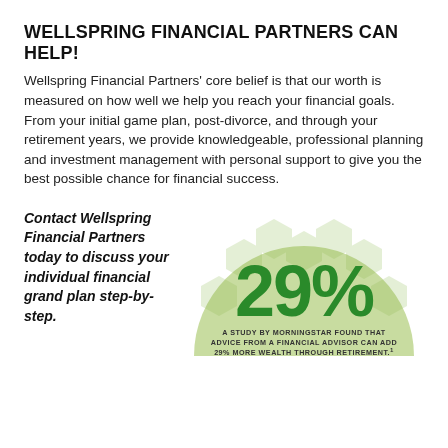WELLSPRING FINANCIAL PARTNERS CAN HELP!
Wellspring Financial Partners’ core belief is that our worth is measured on how well we help you reach your financial goals. From your initial game plan, post-divorce, and through your retirement years, we provide knowledgeable, professional planning and investment management with personal support to give you the best possible chance for financial success.
Contact Wellspring Financial Partners today to discuss your individual financial grand plan step-by-step.
[Figure (infographic): A semicircle infographic with a light green background and decorative honeycomb pattern. Large green bold text reads '29%'. Below it in small uppercase text: 'A STUDY BY MORNINGSTAR FOUND THAT ADVICE FROM A FINANCIAL ADVISOR CAN ADD 29% MORE WEALTH THROUGH RETIREMENT.¹']